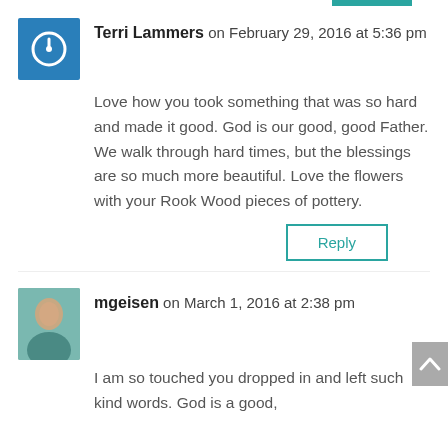Terri Lammers on February 29, 2016 at 5:36 pm
Love how you took something that was so hard and made it good. God is our good, good Father. We walk through hard times, but the blessings are so much more beautiful. Love the flowers with your Rook Wood pieces of pottery.
Reply
mgeisen on March 1, 2016 at 2:38 pm
I am so touched you dropped in and left such kind words. God is a good,